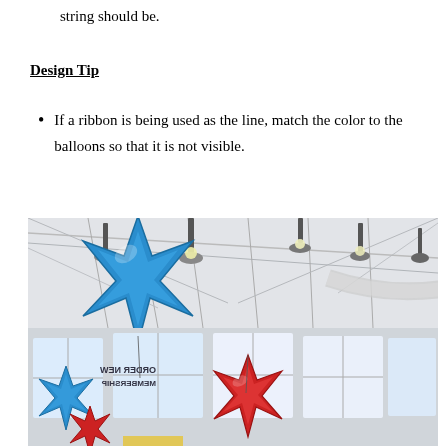string should be.
Design Tip
If a ribbon is being used as the line, match the color to the balloons so that it is not visible.
[Figure (photo): Indoor venue with high white ceiling and structural steel trusses. Multiple star-shaped metallic foil balloons hanging from the ceiling — large blue star balloon on the left, smaller red and blue star balloons lower right. Pendant industrial lights hang from ceiling. Large windows along the walls let in daylight. A reversed sign reading 'ORDER NEW MEMBERSHIP' is visible through the window.]